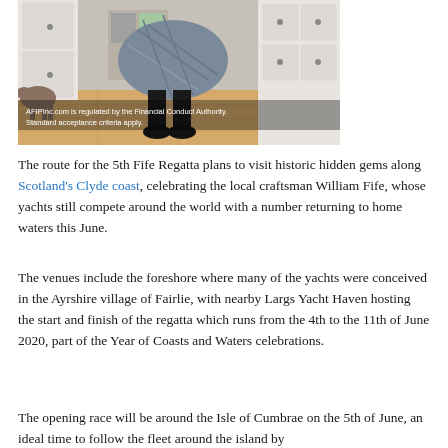[Figure (photo): Indoor photo showing a person bending over near white kitchen cabinetry with a dog in the background on a wooden floor. Overlaid text reads: 'AFIPInc.com is regulated by the Financial Conduct Authority. Standard acceptance criteria apply.']
The route for the 5th Fife Regatta plans to visit historic hidden gems along Scotland's Clyde coast, celebrating the local craftsman William Fife, whose yachts still compete around the world with a number returning to home waters this June.
The venues include the foreshore where many of the yachts were conceived in the Ayrshire village of Fairlie, with nearby Largs Yacht Haven hosting the start and finish of the regatta which runs from the 4th to the 11th of June 2020, part of the Year of Coasts and Waters celebrations.
The opening race will be around the Isle of Cumbrae on the 5th of June, an ideal time to follow the fleet around the island by